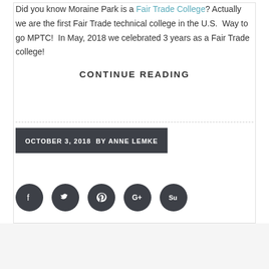Did you know Moraine Park is a Fair Trade College? Actually we are the first Fair Trade technical college in the U.S.  Way to go MPTC!  In May, 2018 we celebrated 3 years as a Fair Trade college!
CONTINUE READING
OCTOBER 3, 2018  BY ANNE LEMKE
[Figure (other): Social media icon buttons: Facebook, Twitter, Pinterest, Google+, StumbleUpon — dark circular icons in a row]